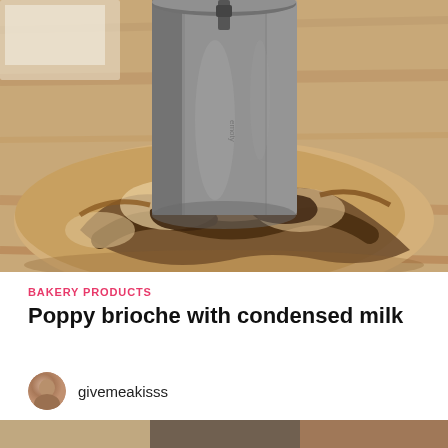[Figure (photo): A round poppy brioche bread with dark swirled filling arranged around a cylindrical metal baking ring mold on a wooden surface.]
BAKERY PRODUCTS
Poppy brioche with condensed milk
givemeakisss